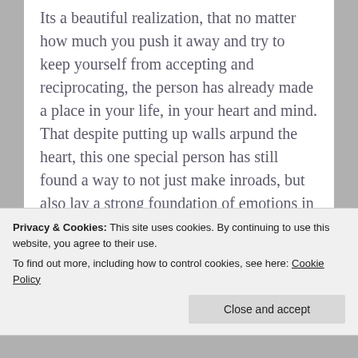Its a beautiful realization, that no matter how much you push it away and try to keep yourself from accepting and reciprocating, the person has already made a place in your life, in your heart and mind. That despite putting up walls arpund the heart, this one special person has still found a way to not just make inroads, but also lay a strong foundation of emotions in you.
Lucky are those who find and fall in love...
Privacy & Cookies: This site uses cookies. By continuing to use this website, you agree to their use.
To find out more, including how to control cookies, see here: Cookie Policy